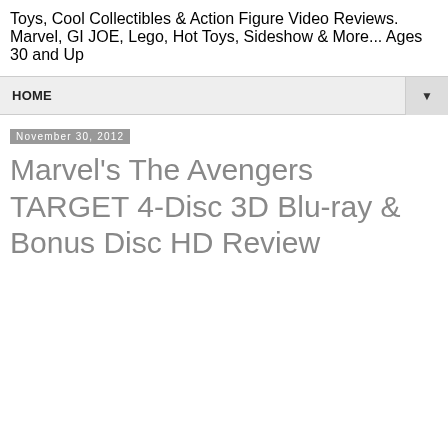Toys, Cool Collectibles & Action Figure Video Reviews. Marvel, GI JOE, Lego, Hot Toys, Sideshow & More... Ages 30 and Up
HOME
November 30, 2012
Marvel's The Avengers TARGET 4-Disc 3D Blu-ray & Bonus Disc HD Review